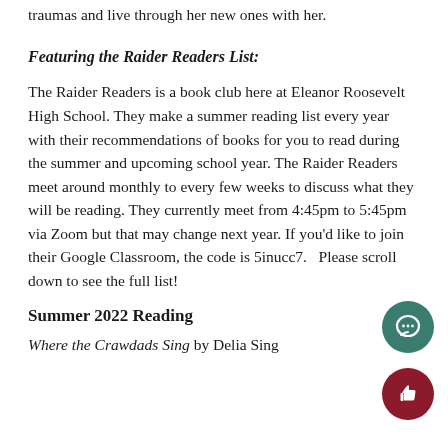traumas and live through her new ones with her.
Featuring the Raider Readers List:
The Raider Readers is a book club here at Eleanor Roosevelt High School. They make a summer reading list every year with their recommendations of books for you to read during the summer and upcoming school year. The Raider Readers meet around monthly to every few weeks to discuss what they will be reading. They currently meet from 4:45pm to 5:45pm via Zoom but that may change next year. If you'd like to join their Google Classroom, the code is 5inucc7.   Please scroll down to see the full list!
Summer 2022 Reading
Where the Crawdads Sing by Delia Sing